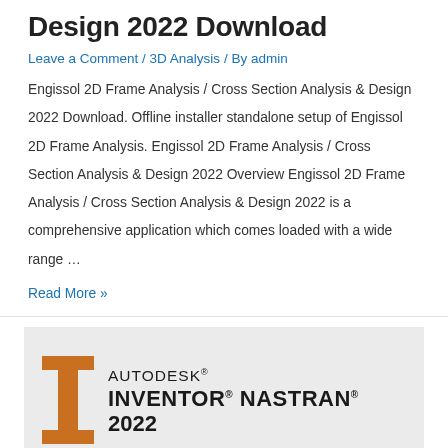Design 2022 Download
Leave a Comment / 3D Analysis / By admin
Engissol 2D Frame Analysis / Cross Section Analysis & Design 2022 Download. Offline installer standalone setup of Engissol 2D Frame Analysis. Engissol 2D Frame Analysis / Cross Section Analysis & Design 2022 Overview Engissol 2D Frame Analysis / Cross Section Analysis & Design 2022 is a comprehensive application which comes loaded with a wide range …
Read More »
[Figure (logo): Autodesk Inventor Nastran 2022 logo with orange I-beam icon on grey background]